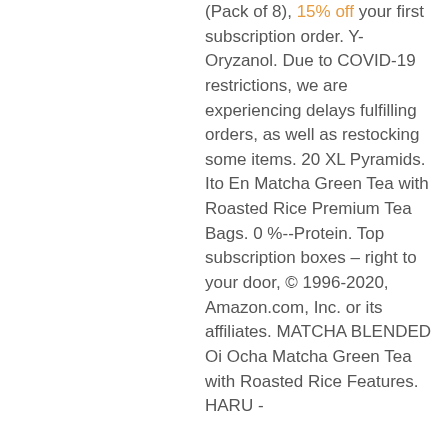(Pack of 8), 15% off your first subscription order. Y-Oryzanol. Due to COVID-19 restrictions, we are experiencing delays fulfilling orders, as well as restocking some items. 20 XL Pyramids. Ito En Matcha Green Tea with Roasted Rice Premium Tea Bags. 0 %--Protein. Top subscription boxes – right to your door, © 1996-2020, Amazon.com, Inc. or its affiliates. MATCHA BLENDED Oi Ocha Matcha Green Tea with Roasted Rice Features. HARU - Luxury Organic...